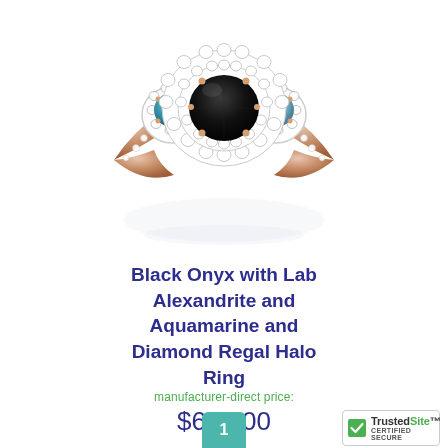[Figure (photo): A diamond halo ring featuring a black onyx center stone, lab alexandrite and aquamarine side stones, set in rose gold and white gold, with double diamond halo surround. Shown with reflection.]
Black Onyx with Lab Alexandrite and Aquamarine and Diamond Regal Halo Ring
manufacturer-direct price:
$682.00
1
[Figure (logo): TrustedSite CERTIFIED SECURE badge with green checkmark]